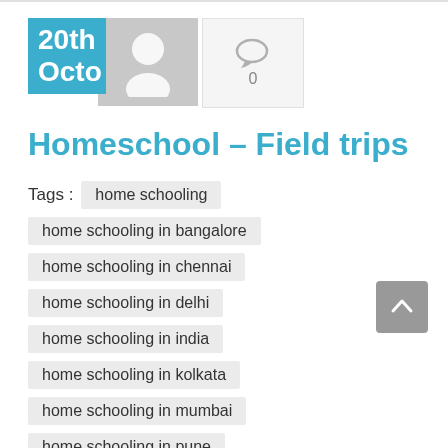20th October
Homeschool – Field trips
Tags : home schooling  home schooling in bangalore  home schooling in chennai  home schooling in delhi  home schooling in india  home schooling in kolkata  home schooling in mumbai  home schooling in pune
Category : Uncategorised